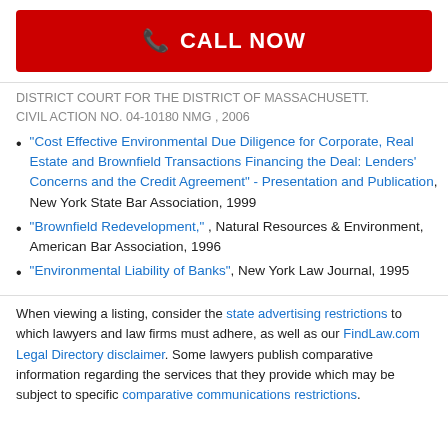[Figure (other): Red 'CALL NOW' button with phone icon]
DISTRICT COURT FOR THE DISTRICT OF MASSACHUSETT. CIVIL ACTION NO. 04-10180 NMG , 2006
"Cost Effective Environmental Due Diligence for Corporate, Real Estate and Brownfield Transactions Financing the Deal: Lenders' Concerns and the Credit Agreement" - Presentation and Publication, New York State Bar Association, 1999
"Brownfield Redevelopment," , Natural Resources & Environment, American Bar Association, 1996
"Environmental Liability of Banks", New York Law Journal, 1995
When viewing a listing, consider the state advertising restrictions to which lawyers and law firms must adhere, as well as our FindLaw.com Legal Directory disclaimer. Some lawyers publish comparative information regarding the services that they provide which may be subject to specific comparative communications restrictions.